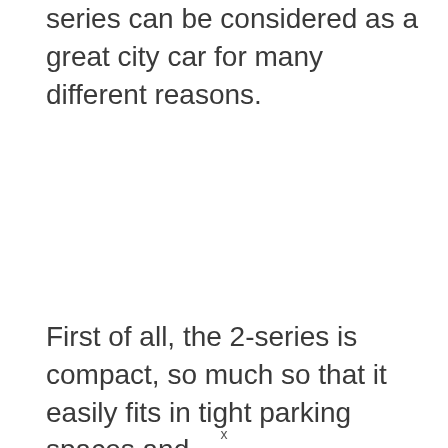series can be considered as a great city car for many different reasons.
First of all, the 2-series is compact, so much so that it easily fits in tight parking spaces and